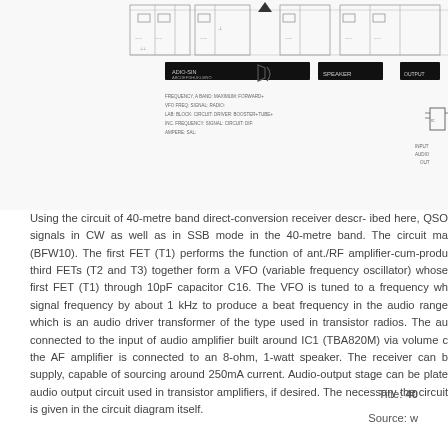[Figure (circuit-diagram): 40-metre band direct-conversion receiver circuit diagram showing FETs (T1, T2, T3), capacitors, transformers, IC1 (TBA820M), VFO, and associated components with black labeled component bars]
Using the circuit of 40-metre band direct-conversion receiver descr- ibed here, QSO signals in CW as well as in SSB mode in the 40-metre band. The circuit ma (BFW10). The first FET (T1) performs the function of ant./RF amplifier-cum-produ third FETs (T2 and T3) together form a VFO (variable frequency oscillator) whose first FET (T1) through 10pF capacitor C16. The VFO is tuned to a frequency wh signal frequency by about 1 kHz to produce a beat frequency in the audio range which is an audio driver transformer of the type used in transistor radios. The au connected to the input of audio amplifier built around IC1 (TBA820M) via volume c the AF amplifier is connected to an 8-ohm, 1-watt speaker. The receiver can b supply, capable of sourcing around 250mA current. Audio-output stage can be plate audio output circuit used in transistor amplifiers, if desired. The necessary the circuit is given in the circuit diagram itself.
Title: 40
Source: w